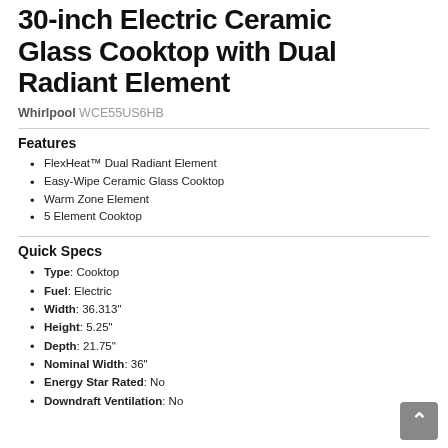30-inch Electric Ceramic Glass Cooktop with Dual Radiant Element
Whirlpool WCE55US6HB
Features
FlexHeat™ Dual Radiant Element
Easy-Wipe Ceramic Glass Cooktop
Warm Zone Element
5 Element Cooktop
Quick Specs
Type: Cooktop
Fuel: Electric
Width: 36.313"
Height: 5.25"
Depth: 21.75"
Nominal Width: 36"
Energy Star Rated: No
Downdraft Ventilation: No